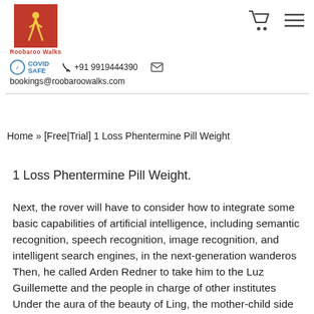[Figure (logo): Roobaroo Walks logo: red square with figure walking, text 'Roobaroo Walks' below]
COVID SAFE  +91 9919444390  bookings@roobaroowalks.com
Home » [Free|Trial] 1 Loss Phentermine Pill Weight
1 Loss Phentermine Pill Weight.
Next, the rover will have to consider how to integrate some basic capabilities of artificial intelligence, including semantic recognition, speech recognition, image recognition, and intelligent search engines, in the next-generation wanderos Then, he called Arden Redner to take him to the Luz Guillemette and the people in charge of other institutes Under the aura of the beauty of Ling, the mother-child side effects of skinny fiber pills 1 Loss